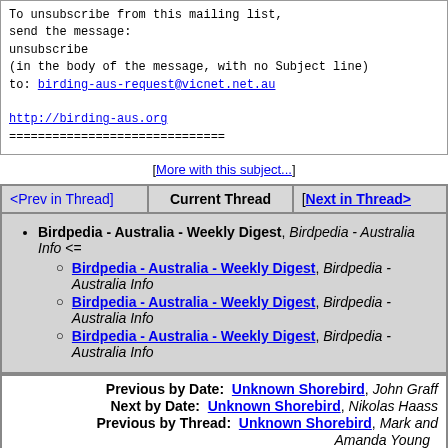To unsubscribe from this mailing list, send the message:
unsubscribe
(in the body of the message, with no Subject line)
to: birding-aus-request@vicnet.net.au

http://birding-aus.org
==============================
[More with this subject...]
| <Prev in Thread> | Current Thread | [Next in Thread>] |
| --- | --- | --- |
|  |
Birdpedia - Australia - Weekly Digest, Birdpedia - Australia Info <=
Birdpedia - Australia - Weekly Digest, Birdpedia - Australia Info
Birdpedia - Australia - Weekly Digest, Birdpedia - Australia Info
Birdpedia - Australia - Weekly Digest, Birdpedia - Australia Info
Previous by Date: Unknown Shorebird, John Graff
Next by Date: Unknown Shorebird, Nikolas Haass
Previous by Thread: Unknown Shorebird, Mark and Amanda Young